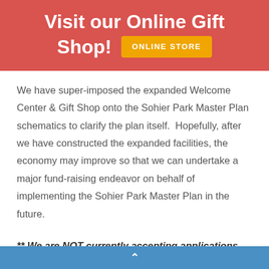Visit our Online Gift Shop! ONLINE STORE
We have super-imposed the expanded Welcome Center & Gift Shop onto the Sohier Park Master Plan schematics to clarify the plan itself.  Hopefully, after we have constructed the expanded facilities, the economy may improve so that we can undertake a major fund-raising endeavor on behalf of implementing the Sohier Park Master Plan in the future.
** We are NOT currently accepting applications for Benches and Memorials. Because the future Master Plan would become relevant...